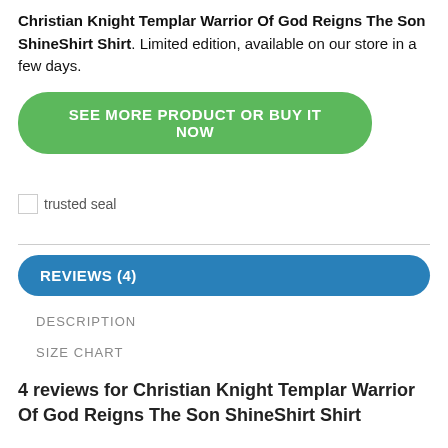Christian Knight Templar Warrior Of God Reigns The Son ShineShirt Shirt. Limited edition, available on our store in a few days.
[Figure (other): Green rounded button with white uppercase text: SEE MORE PRODUCT OR BUY IT NOW]
[Figure (other): Trusted seal image (broken image placeholder) with label 'trusted seal']
REVIEWS (4)
DESCRIPTION
SIZE CHART
4 reviews for Christian Knight Templar Warrior Of God Reigns The Son ShineShirt Shirt